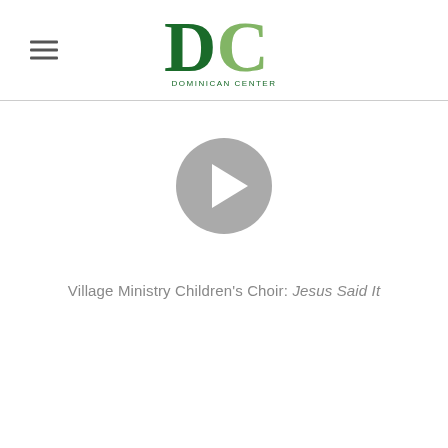[Figure (logo): Dominican Center logo with stylized DC letters in dark green and light green, with text DOMINICAN CENTER below]
[Figure (other): Video play button: circular gray button with white play triangle in center]
Village Ministry Children's Choir: Jesus Said It